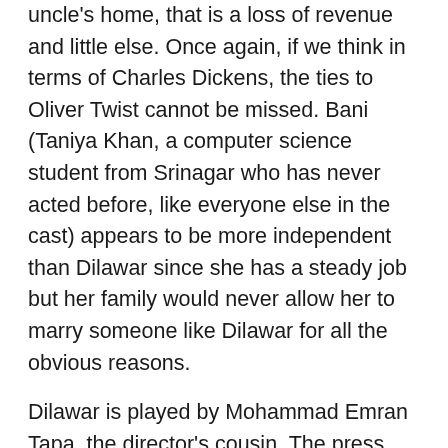uncle's home, that is a loss of revenue and little else. Once again, if we think in terms of Charles Dickens, the ties to Oliver Twist cannot be missed. Bani (Taniya Khan, a computer science student from Srinagar who has never acted before, like everyone else in the cast) appears to be more independent than Dilawar since she has a steady job but her family would never allow her to marry someone like Dilawar for all the obvious reasons.
Dilawar is played by Mohammad Emran Tapa, the director's cousin. The press notes give you a flavor of the DIY approach of the director that eventually convinced him that his cousin was right for the role:
That night, my cousin Imran and I were playing chess when I suddenly knew that he was Dilawar. I didn't want to just come right out and ask him to do it, so I